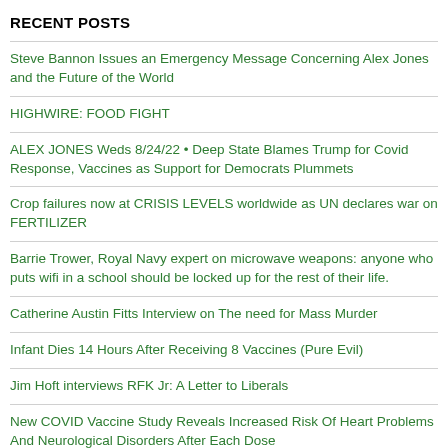RECENT POSTS
Steve Bannon Issues an Emergency Message Concerning Alex Jones and the Future of the World
HIGHWIRE: FOOD FIGHT
ALEX JONES Weds 8/24/22 • Deep State Blames Trump for Covid Response, Vaccines as Support for Democrats Plummets
Crop failures now at CRISIS LEVELS worldwide as UN declares war on FERTILIZER
Barrie Trower, Royal Navy expert on microwave weapons: anyone who puts wifi in a school should be locked up for the rest of their life.
Catherine Austin Fitts Interview on The need for Mass Murder
Infant Dies 14 Hours After Receiving 8 Vaccines (Pure Evil)
Jim Hoft interviews RFK Jr: A Letter to Liberals
New COVID Vaccine Study Reveals Increased Risk Of Heart Problems And Neurological Disorders After Each Dose